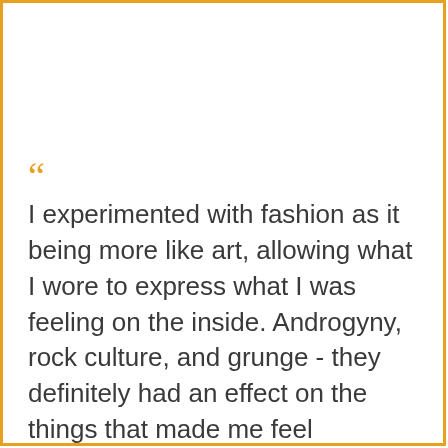“I experimented with fashion as it being more like art, allowing what I wore to express what I was feeling on the inside. Androgyny, rock culture, and grunge - they definitely had an effect on the things that made me feel